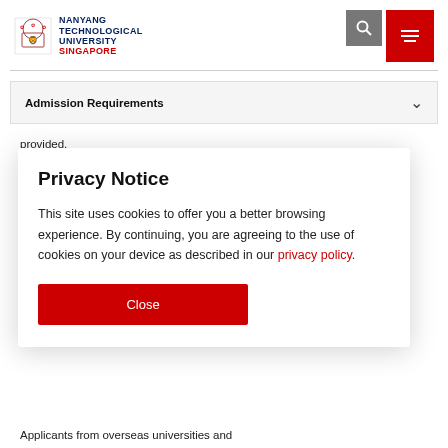Nanyang Technological University Singapore
Admission Requirements
provided.
Applicants from Overseas Universities (based on the
Privacy Notice
This site uses cookies to offer you a better browsing experience. By continuing, you are agreeing to the use of cookies on your device as described in our privacy policy.
Close
Applicants from overseas universities and